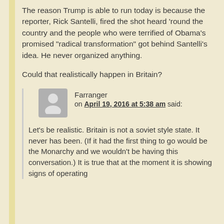The reason Trump is able to run today is because the reporter, Rick Santelli, fired the shot heard 'round the country and the people who were terrified of Obama's promised "radical transformation" got behind Santelli's idea. He never organized anything.
Could that realistically happen in Britain?
Farranger on April 19, 2016 at 5:38 am said:
Let's be realistic. Britain is not a soviet style state. It never has been. (If it had the first thing to go would be the Monarchy and we wouldn't be having this conversation.) It is true that at the moment it is showing signs of operating...